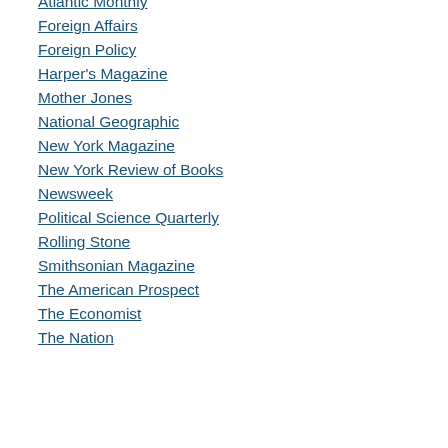Atlantic Monthly
Foreign Affairs
Foreign Policy
Harper's Magazine
Mother Jones
National Geographic
New York Magazine
New York Review of Books
Newsweek
Political Science Quarterly
Rolling Stone
Smithsonian Magazine
The American Prospect
The Economist
The Nation